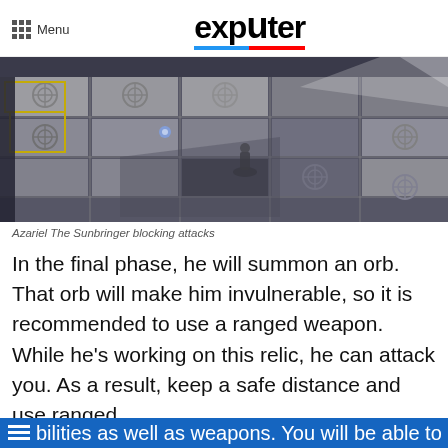Menu | exputer
[Figure (screenshot): In-game screenshot of Azariel The Sunbringer blocking attacks, showing a top-down view of a tiled floor with ornate patterns and a character in combat.]
Azariel The Sunbringer blocking attacks
In the final phase, he will summon an orb. That orb will make him invulnerable, so it is recommended to use a ranged weapon. While he's working on this relic, he can attack you. As a result, keep a safe distance and use ranged abilities as well as weapons. You will be able to